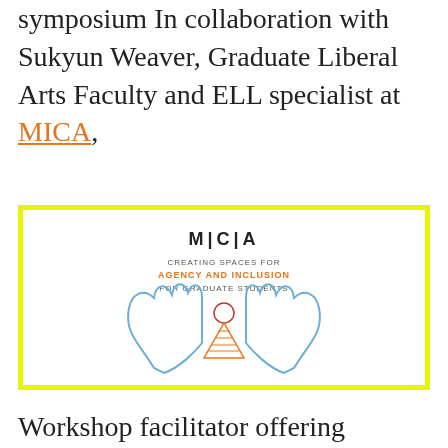symposium In collaboration with Sukyun Weaver, Graduate Liberal Arts Faculty and ELL specialist at MICA,
[Figure (illustration): MICA branded image with yellow border. Text reads: MICA / CREATING SPACES FOR / AGENCY AND INCLUSION / FOR GRADUATE STUDENTS. Below is a hand-drawn illustration of two hands cradling a figure.]
Workshop facilitator offering insights into student journey, needs, challenges and recommendations for MICA staff.